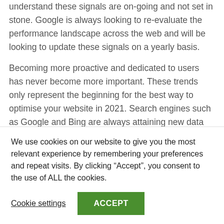understand these signals are on-going and not set in stone. Google is always looking to re-evaluate the performance landscape across the web and will be looking to update these signals on a yearly basis.
Becoming more proactive and dedicated to users has never become more important. These trends only represent the beginning for the best way to optimise your website in 2021. Search engines such as Google and Bing are always attaining new data and improving their search algorithms to help improve how users can access and find the information they are searching for. So why not start now and get ahead of the
We use cookies on our website to give you the most relevant experience by remembering your preferences and repeat visits. By clicking “Accept”, you consent to the use of ALL the cookies.
Cookie settings
ACCEPT